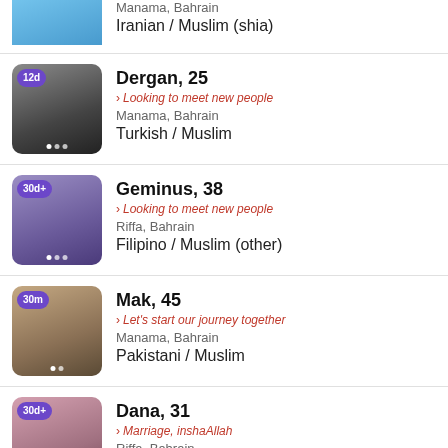Manama, Bahrain | Iranian / Muslim (shia)
Dergan, 25 | Looking to meet new people | Manama, Bahrain | Turkish / Muslim | 12d
Geminus, 38 | Looking to meet new people | Riffa, Bahrain | Filipino / Muslim (other) | 30d+
Mak, 45 | Let's start our journey together | Manama, Bahrain | Pakistani / Muslim | 30m
Dana, 31 | Marriage, inshaAllah | Riffa, Bahrain | Indian-Bahraini / Muslim (sunni) | 30d+
Nouman, 28 | 30d+